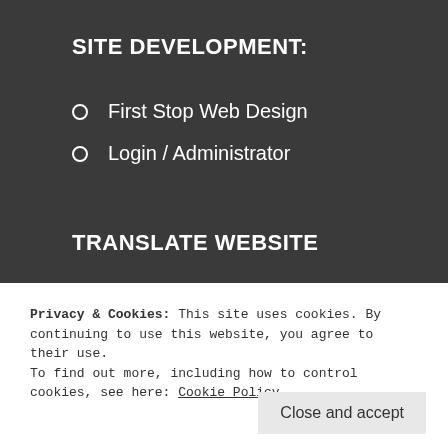SITE DEVELOPMENT:
First Stop Web Design
Login / Administrator
TRANSLATE WEBSITE
Select Language (dropdown)
Powered by Google Translate
Privacy & Cookies: This site uses cookies. By continuing to use this website, you agree to their use.
To find out more, including how to control cookies, see here: Cookie Policy
Close and accept